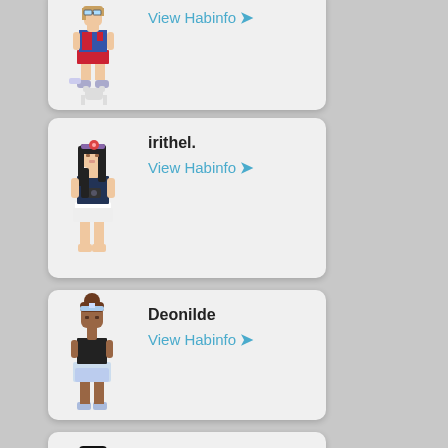[Figure (illustration): Pixel art avatar of a female character with goggles, red/blue top, red skirt, and winged shoes]
View Habinfo ❯
[Figure (illustration): Pixel art avatar of a female character with a flower headband, dark hair, dark top, and white skirt]
irithel.
View Habinfo ❯
[Figure (illustration): Pixel art avatar of a female character with a tiara, dark skin, black top, and blue/white skirt]
Deonilde
View Habinfo ❯
[Figure (illustration): Pixel art avatar of a female character with black hair, heart-shaped glasses, and light purple top]
raspberrymae
View Habinfo ❯